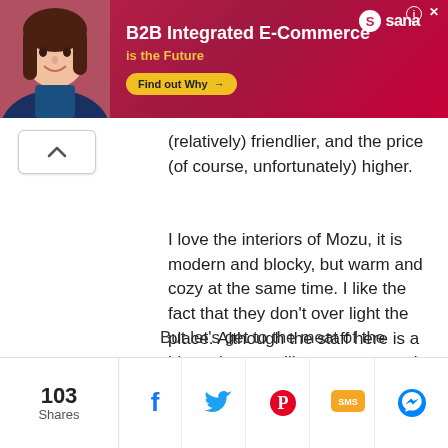[Figure (other): Advertisement banner for Sana Commerce. Red/pink gradient background with a photo of a woman. Text reads 'B2B Integrated E-Commerce is the Future' with a 'Find out Why' button and Sana logo.]
(relatively) friendlier, and the price (of course, unfortunately) higher.
I love the interiors of Mozu, it is modern and blocky, but warm and cozy at the same time. I like the fact that they don't over light the place. Although the staff here is a bit on the unsmiling group type, the service is prompt nonetheless. Our dishes were served quite fast.
But let's get to the meat of the matter,
103 Shares
[Figure (other): Social share bar with Facebook, Twitter, Pinterest, SMS, and Messenger icons. Shows 103 Shares total.]